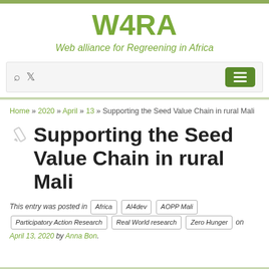W4RA
Web alliance for Regreening in Africa
Home » 2020 » April » 13 » Supporting the Seed Value Chain in rural Mali
Supporting the Seed Value Chain in rural Mali
This entry was posted in Africa | AI4dev | AOPP Mali | Participatory Action Research | Real World research | Zero Hunger on April 13, 2020 by Anna Bon.